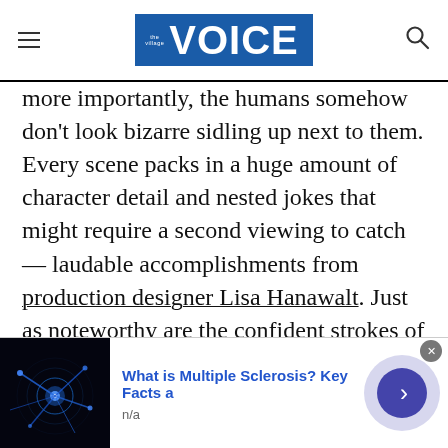the Village VOICE
more importantly, the humans somehow don't look bizarre sidling up next to them. Every scene packs in a huge amount of character detail and nested jokes that might require a second viewing to catch — laudable accomplishments from production designer Lisa Hanawalt. Just as noteworthy are the confident strokes of darkness and gloom — it could be argued that BoJack, like Amazon's Transparent, is more a half-hour drama than a comedy — one that arguably hits harder because of the show's sunny
[Figure (screenshot): Advertisement banner: image of neuron with blue glowing light on dark background, ad title 'What is Multiple Sclerosis? Key Facts a', subtitle 'n/a', with right-arrow navigation button]